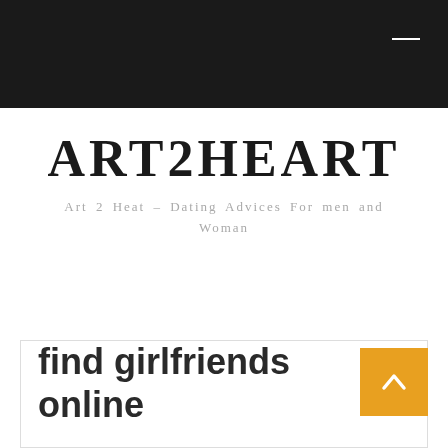ART2HEART
ART2HEART
Art 2 Heat – Dating Advices For men and Woman
find girlfriends online